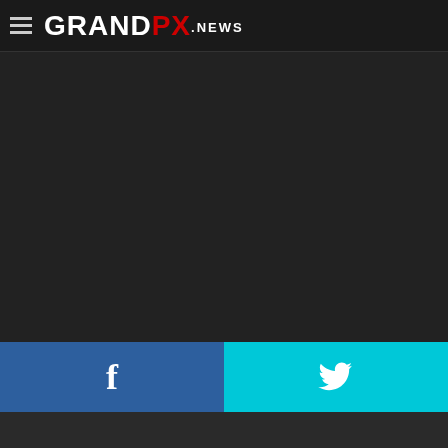GRANDPX.NEWS
[Figure (other): Large dark/black content area, appears to be a video or image placeholder]
[Figure (other): Social share bar with Facebook (blue) and Twitter (cyan) buttons]
[Figure (other): Bottom dark section with partial avatar/profile image visible]